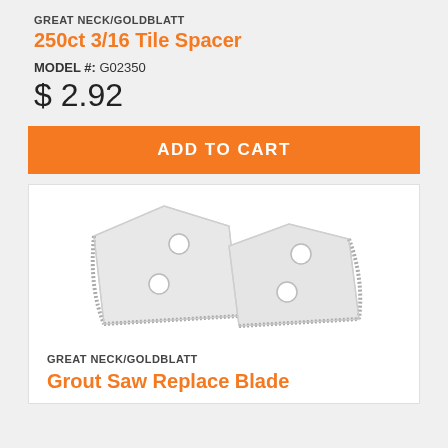GREAT NECK/GOLDBLATT
250ct 3/16 Tile Spacer
MODEL #: G02350
$ 2.92
ADD TO CART
[Figure (photo): Two diamond-coated grout saw replacement blades, trapezoidal shape with two holes each, showing abrasive edges]
GREAT NECK/GOLDBLATT
Grout Saw Replace Blade